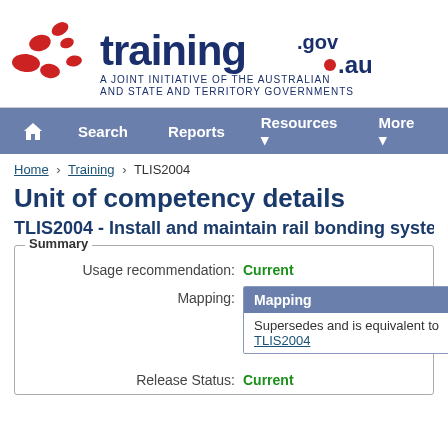[Figure (logo): training.gov.au logo with red spiral dots and dark blue text, tagline: A JOINT INITIATIVE OF THE AUSTRALIAN AND STATE AND TERRITORY GOVERNMENTS]
Search  Reports  Resources  More
Home > Training > TLIS2004
Unit of competency details
TLIS2004 - Install and maintain rail bonding syste...
|  |  |
| --- | --- |
| Usage recommendation: | Current |
| Mapping: | Mapping | Supersedes and is equivalent to TLIS2004... |
| Release Status: | Current |